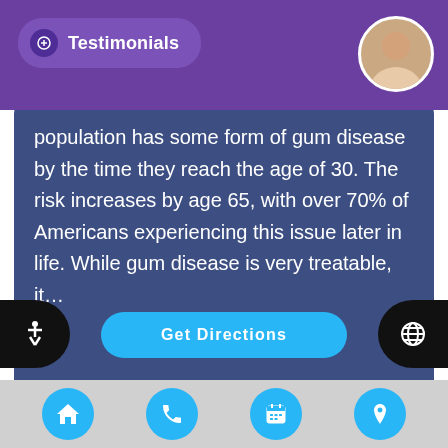Testimonials
population has some form of gum disease by the time they reach the age of 30. The risk increases by age 65, with over 70% of Americans experiencing this issue later in life. While gum disease is very treatable, it…
211 Culver Blvd Ste. T
Playa Del Rey, CA 90293
Get Directions